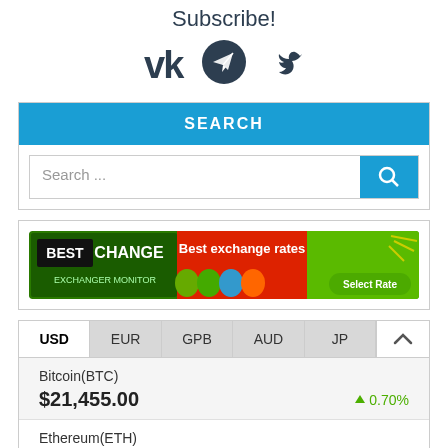Subscribe!
[Figure (illustration): Social media icons: VK, Telegram, Twitter]
SEARCH
Search ...
[Figure (illustration): BestChange Exchanger Monitor advertisement banner - Best exchange rates]
| USD | EUR | GPB | AUD | JP |
| --- | --- | --- | --- | --- |
| Bitcoin(BTC) |  |  |  |  |
| $21,455.00 |  |  |  | ↑ 0.70% |
| Ethereum(ETH) |  |  |  |  |